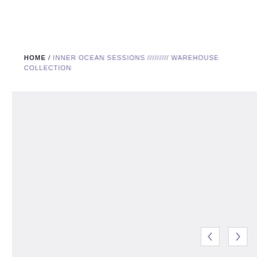HOME / INNER OCEAN SESSIONS ///////// WAREHOUSE COLLECTION
[Figure (other): Large light grey placeholder image area with navigation arrows (left and right chevrons) in the bottom right corner]